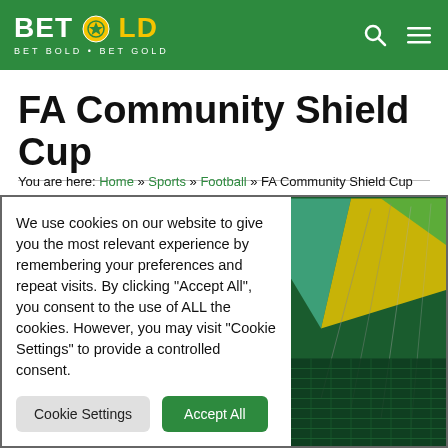BETGOLD — BET BOLD • BET GOLD
FA Community Shield Cup
You are here: Home » Sports » Football » FA Community Shield Cup
[Figure (screenshot): Cookie consent overlay on left with stadium image on right. Cookie text reads: We use cookies on our website to give you the most relevant experience by remembering your preferences and repeat visits. By clicking "Accept All", you consent to the use of ALL the cookies. However, you may visit "Cookie Settings" to provide a controlled consent. Buttons: Cookie Settings, Accept All.]